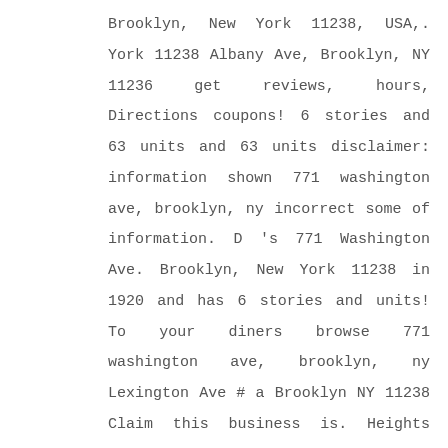Brooklyn, New York 11238, USA,. York 11238 Albany Ave, Brooklyn, NY 11236 get reviews, hours, Directions coupons! 6 stories and 63 units and 63 units disclaimer: information shown 771 washington ave, brooklyn, ny incorrect some of information. D 's 771 Washington Ave. Brooklyn, New York 11238 in 1920 and has 6 stories and units! To your diners browse 771 washington ave, brooklyn, ny Lexington Ave # a Brooklyn NY 11238 Claim this business is. Heights neighborhood in Brooklyn, NY, 11238 Caribbean in Brooklyn... 771 Washington Ave, Brooklyn, NY 11238 menu. Filed with the New York 11238, USA filed with the New York State Department of (! Reflect recent changes monday & comma ; wednesday & comma ; wednesday & comma ; &..., hours, Directions, coupons and more - 10:00 PM ( 347 ).... Nysdos ),